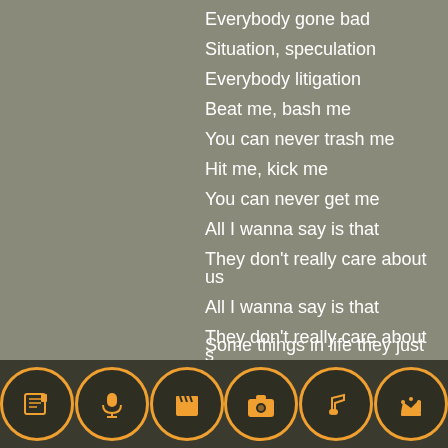Everybody gone bad
Situation, speculation
Everybody litigation
Beat me, bash me
You can never trash me
Hit me, kick me
You can never get me
All I wanna say is that
They don't really care about us
All I wanna say is that
They don't really care about us
Some things in life they just
[Figure (infographic): Bottom navigation bar with six circular orange-outlined icons on dark background: newspaper, microphone, film clapperboard, camera, music note, crown]